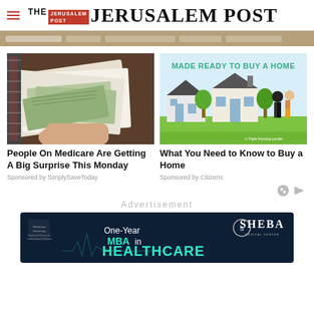THE JERUSALEM POST
[Figure (photo): Photo of a hand holding envelopes with cash/checks visible on a wooden desk surface]
People On Medicare Are Getting A Big Surprise This Monday
Sponsored by SimplySaveToday
[Figure (illustration): Illustrated advertisement showing houses with green lawn and two people, text reads MADE READY TO BUY A HOME, logo: Triple Housing Lender]
What You Need to Know to Buy a Home
Sponsored by Citizens
Advertisement
[Figure (infographic): Advertisement banner for One-Year MBA in HEALTHCARE from Reichman University / Raphael Recanati International School, with Sheba logo on right, dark navy background with teal text]